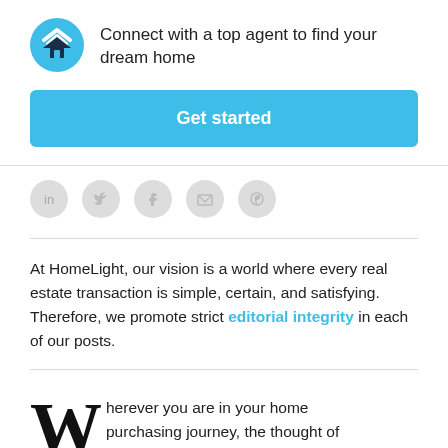[Figure (logo): HomeLight logo — blue circle with white chevron and house icon]
Connect with a top agent to find your dream home
Get started
[Figure (infographic): Social share icons: LinkedIn, Twitter, Facebook, Email, Pinterest — grey circles]
At HomeLight, our vision is a world where every real estate transaction is simple, certain, and satisfying. Therefore, we promote strict editorial integrity in each of our posts.
Wherever you are in your home purchasing journey, the thought of